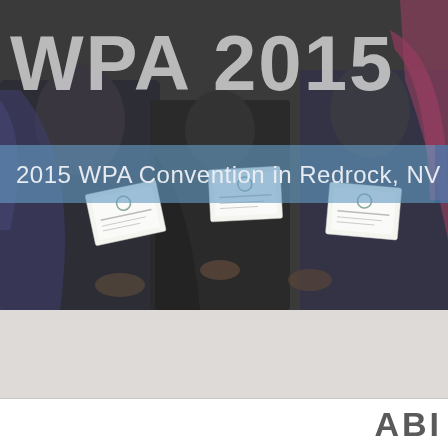WPA 2015
2015 WPA Convention in Redrock, NV
[Figure (photo): Group of people at a convention holding certificate cards, photographed in a dark indoor setting. Three certificate/award cards are visible held by attendees.]
ABI